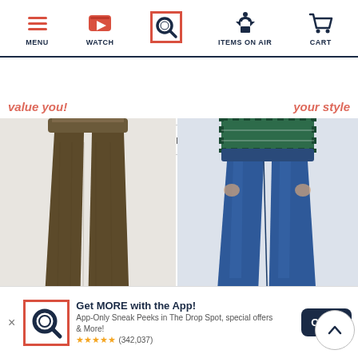[Figure (screenshot): Mobile app navigation bar with icons for MENU (hamburger), WATCH (play button), SEARCH (Q logo, highlighted with orange border), ITEMS ON AIR (shirt icon), CART (shopping cart icon)]
What can we help you discover?
LOGO by Lori Goldstein Regular
Denim & Co. Comfy Kn... ...lar
[Figure (photo): Woman wearing brown/olive slim jeans with white sneakers, cropped at waist]
[Figure (photo): Woman wearing blue denim jeans with plaid shirt and white sneakers, cropped at waist]
Get MORE with the App! App-Only Sneak Peeks in The Drop Spot, special offers & More! ★★★★★ (342,037)